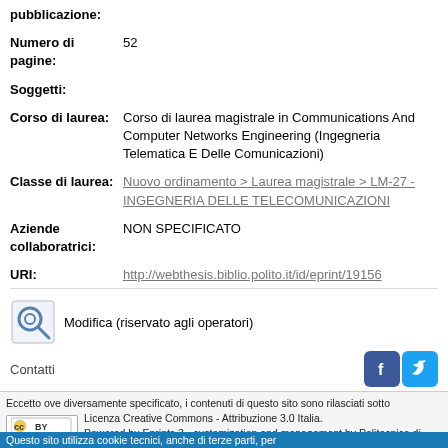pubblicazione:
Numero di pagine: 52
Soggetti:
Corso di laurea: Corso di laurea magistrale in Communications And Computer Networks Engineering (Ingegneria Telematica E Delle Comunicazioni)
Classe di laurea: Nuovo ordinamento > Laurea magistrale > LM-27 - INGEGNERIA DELLE TELECOMUNICAZIONI
Aziende collaboratrici: NON SPECIFICATO
URI: http://webthesis.biblio.polito.it/id/eprint/19156
Modifica (riservato agli operatori)
Contatti
Eccetto ove diversamente specificato, i contenuti di questo sito sono rilasciati sotto Licenza Creative Commons - Attribuzione 3.0 Italia. Powered by Eprints 3 - customization and management by Politecnico di
Questo sito utilizza cookie tecnici, anche di terze parti, per